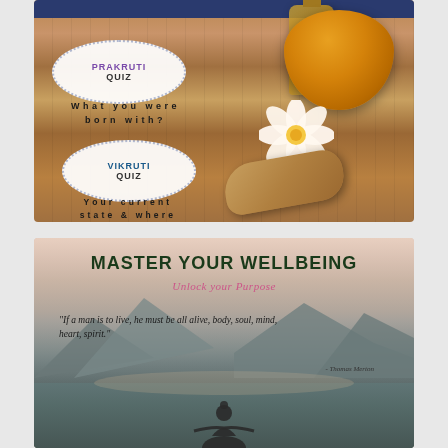[Figure (photo): Top panel: Ayurvedic herbs photo — turmeric powder in a white bowl, fresh turmeric root, a glass bottle of golden oil, and a white flower on a wooden background. Overlaid with two oval/circle text bubbles: 'PRAKRUTI QUIZ' and 'VIKRUTI QUIZ' with descriptive text, and a dark blue banner at top.]
PRAKRUTI QUIZ
What you were born with?
VIKRUTI QUIZ
Your current state & where you are out of balance?
[Figure (photo): Bottom panel: Wellness/meditation photo — person sitting in meditation pose near still water with mountains in misty background, soft pinkish-grey sky. Overlaid with title 'MASTER YOUR WELLBEING', subtitle 'Unlock your Purpose', and an italic quote.]
MASTER YOUR WELLBEING
Unlock your Purpose
"If a man is to live, he must be all alive, body, soul, mind, heart, spirit."
- Thomas Merton